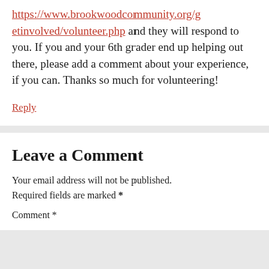https://www.brookwoodcommunity.org/getinvolved/volunteer.php and they will respond to you. If you and your 6th grader end up helping out there, please add a comment about your experience, if you can. Thanks so much for volunteering!
Reply
Leave a Comment
Your email address will not be published. Required fields are marked *
Comment *